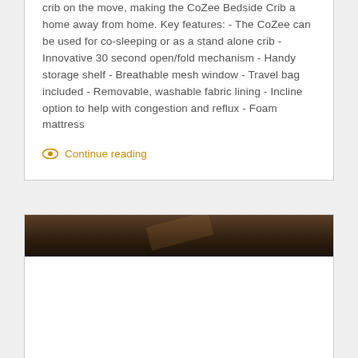crib on the move, making the CoZee Bedside Crib a home away from home. Key features: - The CoZee can be used for co-sleeping or as a stand alone crib - Innovative 30 second open/fold mechanism - Handy storage shelf - Breathable mesh window - Travel bag included - Removable, washable fabric lining - Incline option to help with congestion and reflux - Foam mattress
Continue reading
[Figure (photo): Dark photograph, appears to show a wooden structure or furniture, dimly lit with warm tones]